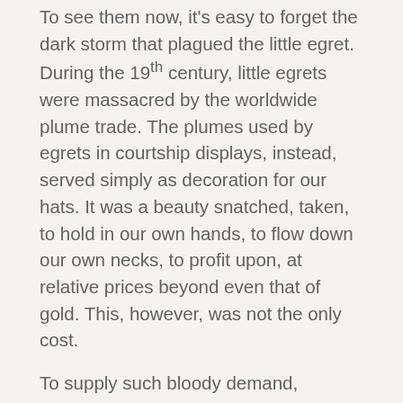To see them now, it's easy to forget the dark storm that plagued the little egret. During the 19th century, little egrets were massacred by the worldwide plume trade. The plumes used by egrets in courtship displays, instead, served simply as decoration for our hats. It was a beauty snatched, taken, to hold in our own hands, to flow down our own necks, to profit upon, at relative prices beyond even that of gold. This, however, was not the only cost.
To supply such bloody demand, millions of birds were slaughtered. Many species were threatened alongside the little egret: its heron relatives, birds of paradise, hummingbirds, emus, and pheasants, to name a small few. No unprotected birds, with feathers to fashion, were safe. In January 1913, the remains of 77,000 egret, 22,000 exotic pigeon, and 25,000 hummingbirds were sold in London. And this does not wholly represent the depth of the persecution; little egret adults were shot